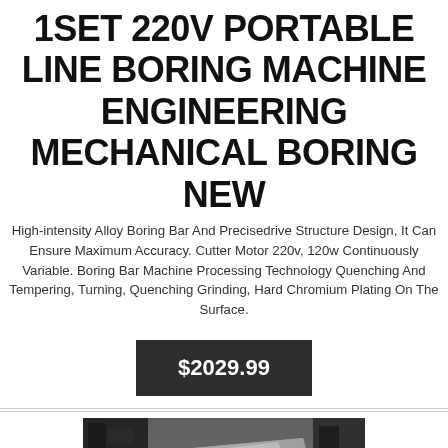1SET 220V PORTABLE LINE BORING MACHINE ENGINEERING MECHANICAL BORING NEW
High-intensity Alloy Boring Bar And Precisedrive Structure Design, It Can Ensure Maximum Accuracy. Cutter Motor 220v, 120w Continuously Variable. Boring Bar Machine Processing Technology Quenching And Tempering, Turning, Quenching Grinding, Hard Chromium Plating On The Surface.
$2029.99
[Figure (photo): Photo of a portable line boring machine, showing a metallic silver/grey surface with industrial machinery components visible in the background]